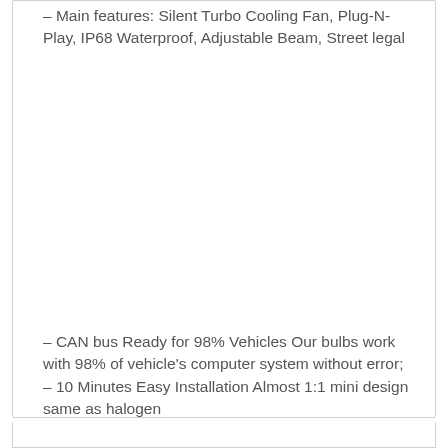– Main features: Silent Turbo Cooling Fan, Plug-N-Play, IP68 Waterproof, Adjustable Beam, Street legal
– CAN bus Ready for 98% Vehicles Our bulbs work with 98% of vehicle's computer system without error;
– 10 Minutes Easy Installation Almost 1:1 mini design same as halogen